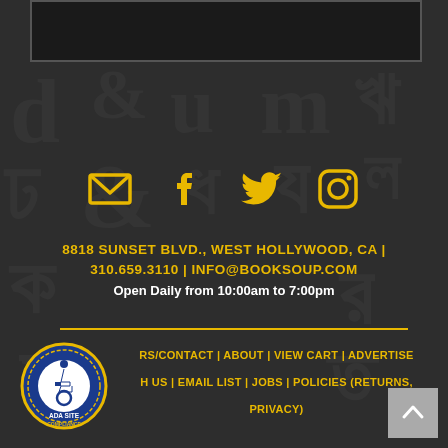[Figure (screenshot): Top portion of a dark website page showing a partial image/header area]
[Figure (infographic): Row of four social media icons (email/envelope, Facebook, Twitter/bird, Instagram) in gold/yellow color on dark background]
8818 SUNSET BLVD., WEST HOLLYWOOD, CA | 310.659.3110 | INFO@BOOKSOUP.COM
Open Daily from 10:00am to 7:00pm
HOURS/CONTACT | ABOUT | VIEW CART | ADVERTISE WITH US | EMAIL LIST | JOBS | POLICIES (RETURNS, PRIVACY)
[Figure (logo): ADA Site Compliance badge — circular blue and gold seal with wheelchair accessibility icon]
[Figure (other): Gray back-to-top arrow button in bottom-right corner]